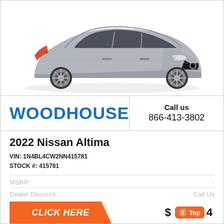[Figure (photo): Silver 2022 Nissan Altima sedan, 3/4 front view on white background]
WOODHOUSE
Call us
866-413-3802
2022 Nissan Altima
VIN: 1N4BL4CW2NN415781
STOCK #: 415781
MSRP:
Dealer Discount
Call Us
CLICK HERE
$